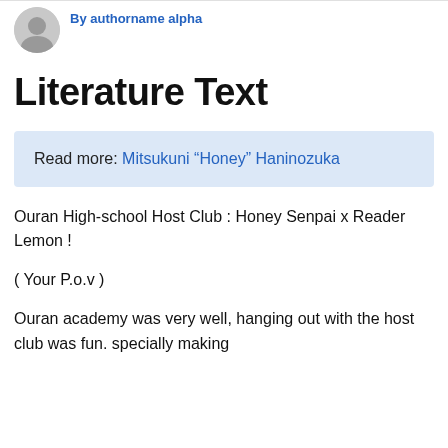By authorname alpha
Literature Text
Read more: Mitsukuni “Honey” Haninozuka
Ouran High-school Host Club : Honey Senpai x Reader Lemon !
( Your P.o.v )
Ouran academy was very well, hanging out with the host club was fun. specially making